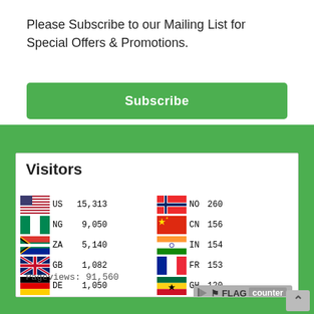Please Subscribe to our Mailing List for Special Offers & Promotions.
Subscribe
[Figure (infographic): Flag Counter widget showing visitor counts by country. Visitors: US 15,313 | NG 9,050 | ZA 5,140 | GB 1,082 | DE 1,050 | CA 367 | IE 329 | NO 260 | CN 156 | IN 154 | FR 153 | GH 120 | PH 99 | UG 81. Pageviews: 91,560. FLAG counter logo at bottom.]